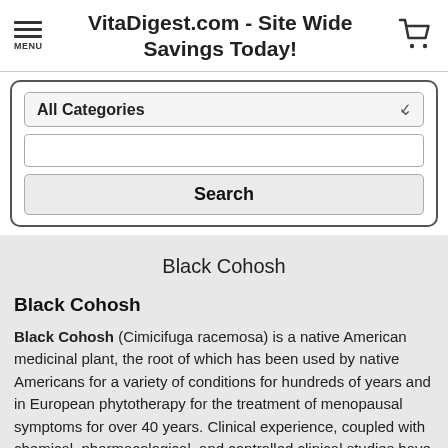VitaDigest.com - Site Wide Savings Today!
[Figure (screenshot): Search UI with All Categories dropdown, text input, and Search button]
Black Cohosh
Black Cohosh
Black Cohosh (Cimicifuga racemosa) is a native American medicinal plant, the root of which has been used by native Americans for a variety of conditions for hundreds of years and in European phytotherapy for the treatment of menopausal symptoms for over 40 years. Clinical experience, coupled with chemical, pharmacological, and controlled clinical studies have confirmed that black cohosh